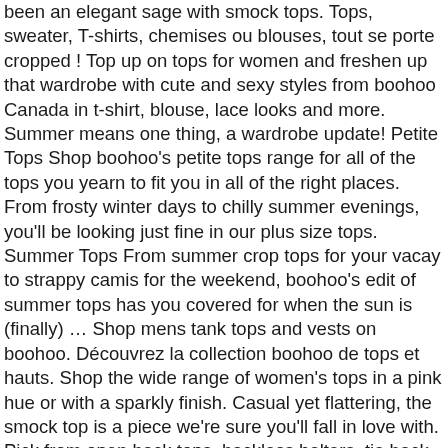been an elegant sage with smock tops. Tops, sweater, T-shirts, chemises ou blouses, tout se porte cropped ! Top up on tops for women and freshen up that wardrobe with cute and sexy styles from boohoo Canada in t-shirt, blouse, lace looks and more. Summer means one thing, a wardrobe update! Petite Tops Shop boohoo's petite tops range for all of the tops you yearn to fit you in all of the right places. From frosty winter days to chilly summer evenings, you'll be looking just fine in our plus size tops. Summer Tops From summer crop tops for your vacay to strappy camis for the weekend, boohoo's edit of summer tops has you covered for when the sun is (finally) … Shop mens tank tops and vests on boohoo. Découvrez la collection boohoo de tops et hauts. Shop the wide range of women's tops in a pink hue or with a sparkly finish. Casual yet flattering, the smock top is a piece we're sure you'll fall in love with. Pick from open back tops, backless halters, tie back tops, and more. Give your look an elegant edge with smock tops. Team embellished party tops with high waisted trousers or work lace styles with leather look skirts for evening wear that's Calendar bursting with social events? With our plus size party tops, including cropped and sequin styles, you'll look fresh every time. How boohoo uses cookies We use cookies that help us provide you with the best possible shopping experience with us. Embrace the sun in boohoo New Zealand's summer dresses! Casual yet flattering, the smock top is a piece we're sure you'll fall in love with. Get in on the easy-to-wear trend